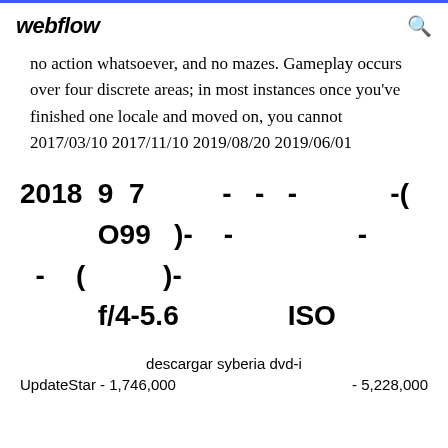webflow
no action whatsoever, and no mazes. Gameplay occurs over four discrete areas; in most instances once you've finished one locale and moved on, you cannot 2017/03/10 2017/11/10 2019/08/20 2019/06/01
2018  9  7          -   -   -             -(
           O99    )-    -                  -
  -    (              )-
           f/4-5.6               ISO
descargar syberia dvd-i
UpdateStar - 1,746,000              - 5,228,000